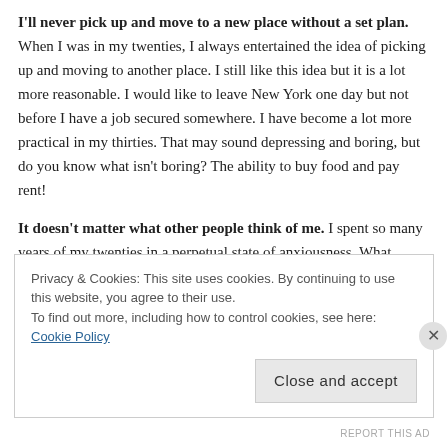I'll never pick up and move to a new place without a set plan. When I was in my twenties, I always entertained the idea of picking up and moving to another place. I still like this idea but it is a lot more reasonable. I would like to leave New York one day but not before I have a job secured somewhere. I have become a lot more practical in my thirties. That may sound depressing and boring, but do you know what isn't boring? The ability to buy food and pay rent!
It doesn't matter what other people think of me. I spent so many years of my twenties in a perpetual state of anxiousness. What others thought of me mattered way too much. This made friendships difficult. Relationships challenging. It made life in general rough. I am so over that nonsense. Here is something that young people really need to remember: The opinions of others truly do not matter. Life becomes a
Privacy & Cookies: This site uses cookies. By continuing to use this website, you agree to their use.
To find out more, including how to control cookies, see here: Cookie Policy
Close and accept
REPORT THIS AD